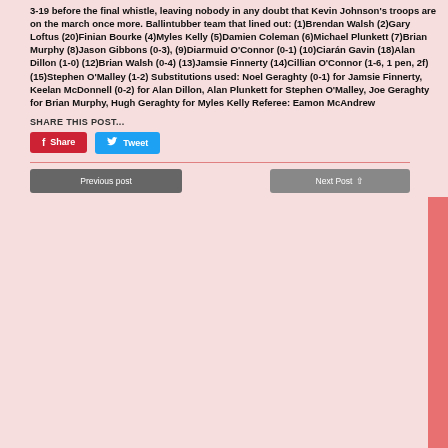3-19 before the final whistle, leaving nobody in any doubt that Kevin Johnson's troops are on the march once more. Ballintubber team that lined out: (1)Brendan Walsh (2)Gary Loftus (20)Finian Bourke (4)Myles Kelly (5)Damien Coleman (6)Michael Plunkett (7)Brian Murphy (8)Jason Gibbons (0-3), (9)Diarmuid O'Connor (0-1) (10)Ciarán Gavin (18)Alan Dillon (1-0) (12)Brian Walsh (0-4) (13)Jamsie Finnerty (14)Cillian O'Connor (1-6, 1 pen, 2f)(15)Stephen O'Malley (1-2) Substitutions used: Noel Geraghty (0-1) for Jamsie Finnerty, Keelan McDonnell (0-2) for Alan Dillon, Alan Plunkett for Stephen O'Malley, Joe Geraghty for Brian Murphy, Hugh Geraghty for Myles Kelly Referee: Eamon McAndrew
SHARE THIS POST...
Share
Tweet
Previous post | Next Post